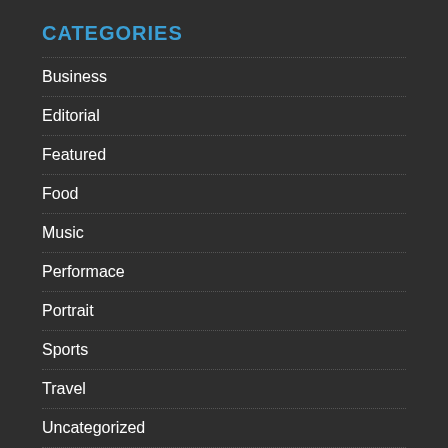CATEGORIES
Business
Editorial
Featured
Food
Music
Performace
Portrait
Sports
Travel
Uncategorized
Wedding